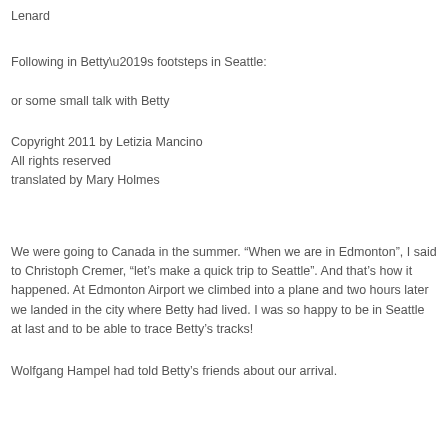Lenard
Following in Betty’s footsteps in Seattle:
or some small talk with Betty
Copyright 2011 by Letizia Mancino
All rights reserved
translated by Mary Holmes
We were going to Canada in the summer. “When we are in Edmonton”, I said to Christoph Cremer, “let’s make a quick trip to Seattle”. And that’s how it happened. At Edmonton Airport we climbed into a plane and two hours later we landed in the city where Betty had lived. I was so happy to be in Seattle at last and to be able to trace Betty’s tracks!
Wolfgang Hampel had told Betty’s friends about our arrival.